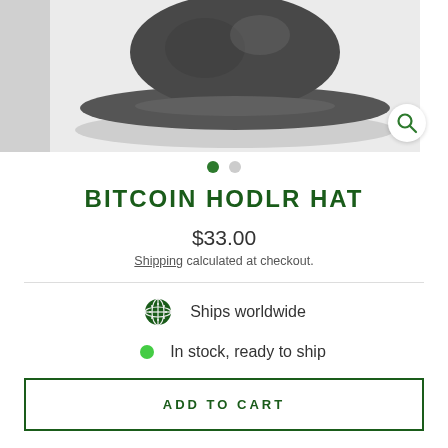[Figure (photo): Product photo of a dark gray/black Bitcoin HODLR hat viewed from above, showing the cap brim and crown. There is a magnify/search icon button in the bottom right corner of the image.]
BITCOIN HODLR HAT
$33.00
Shipping calculated at checkout.
Ships worldwide
In stock, ready to ship
ADD TO CART